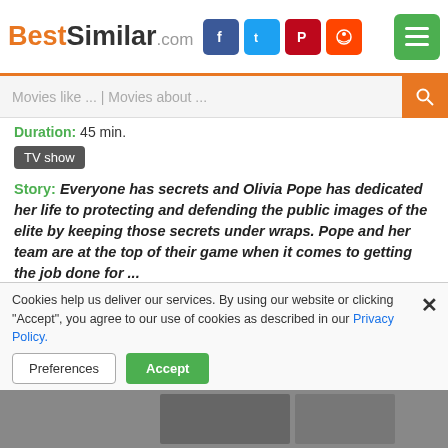BestSimilar.com
Duration: 45 min.
TV show
Story: Everyone has secrets and Olivia Pope has dedicated her life to protecting and defending the public images of the elite by keeping those secrets under wraps. Pope and her team are at the top of their game when it comes to getting the job done for ...
Style: serious, clever, stylized, twists and turns, realistic ...
Audience: teens
Plot: white house, workplace situations, relationship vs career, president, teamwork, politician, lawyer, media, democrat, senator, coworker, politics ...
Time: 21st century, contemporary,
Cookies help us deliver our services. By using our website or clicking "Accept", you agree to our use of cookies as described in our Privacy Policy.